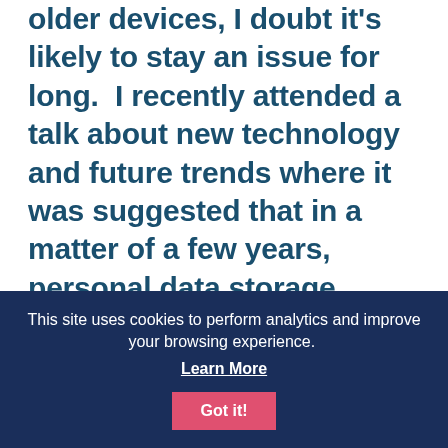older devices, I doubt it's likely to stay an issue for long.  I recently attended a talk about new technology and future trends where it was suggested that in a matter of a few years, personal data storage would go so far beyond what we can currently imagine that you could wear a pair of glasses that would record your entire life, enabling you to look back on your childhood at any time, or simply to flick back five minutes to see where you left your car keys (though presumably not where you left your glasses). I thought this may be a bit of an exaggeration, but then
This site uses cookies to perform analytics and improve your browsing experience. Learn More Got it!